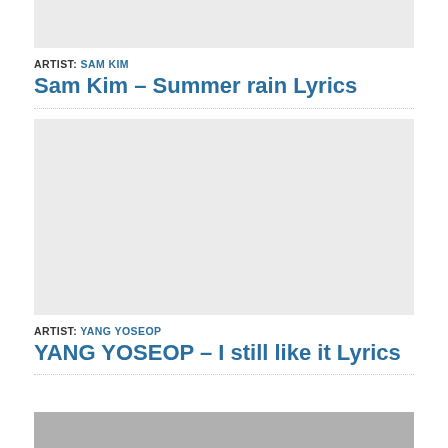[Figure (other): Gray placeholder advertisement box at top]
ARTIST: SAM KIM
Sam Kim – Summer rain Lyrics
[Figure (other): Gray placeholder advertisement box, large]
ARTIST: YANG YOSEOP
YANG YOSEOP – I still like it Lyrics
[Figure (photo): Partial image at bottom of page]